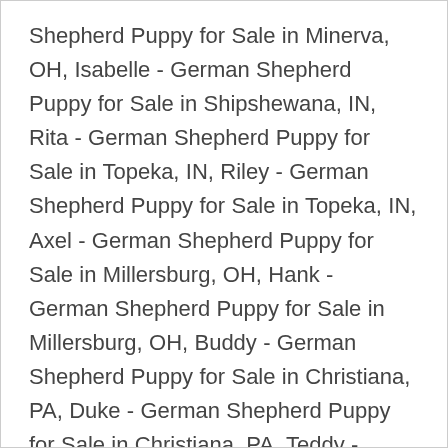Shepherd Puppy for Sale in Minerva, OH, Isabelle - German Shepherd Puppy for Sale in Shipshewana, IN, Rita - German Shepherd Puppy for Sale in Topeka, IN, Riley - German Shepherd Puppy for Sale in Topeka, IN, Axel - German Shepherd Puppy for Sale in Millersburg, OH, Hank - German Shepherd Puppy for Sale in Millersburg, OH, Buddy - German Shepherd Puppy for Sale in Christiana, PA, Duke - German Shepherd Puppy for Sale in Christiana, PA, Teddy - German Shepherd Puppy for Sale in Christiana, PA, Hope - German Shepherd Puppy for Sale in Christiana, PA, Penny - German Shepherd Puppy for Sale in Millersburg, OH, Kate - German Shepherd Puppy for Sale in Dundee, OH, Daisy NEW PICS - German Shepherd Puppy for Sale in Dundee, OH, Kate - German Shepherd Puppy for Sale in Millersburg, OH, Stella - German Shepherd Puppy for